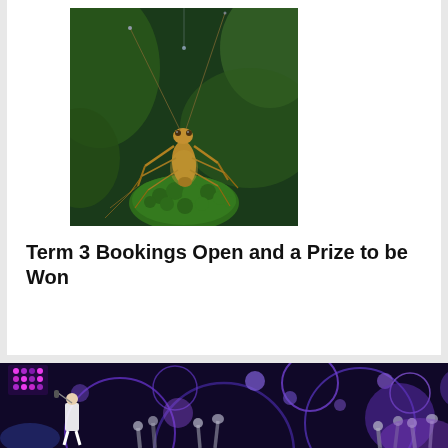[Figure (photo): Close-up photo of a praying mantis perched on a green mossy rock against a dark green blurred background]
Term 3 Bookings Open and a Prize to be Won
[Figure (photo): Concert photo showing a performer on stage with purple and blue circular light decorations and audience with raised hands]